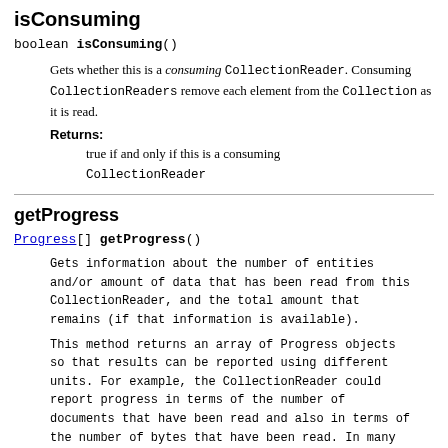isConsuming
boolean isConsuming()
Gets whether this is a consuming CollectionReader. Consuming CollectionReaders remove each element from the Collection as it is read.
Returns:
true if and only if this is a consuming CollectionReader
getProgress
Progress[] getProgress()
Gets information about the number of entities and/or amount of data that has been read from this CollectionReader, and the total amount that remains (if that information is available).
This method returns an array of Progress objects so that results can be reported using different units. For example, the CollectionReader could report progress in terms of the number of documents that have been read and also in terms of the number of bytes that have been read. In many